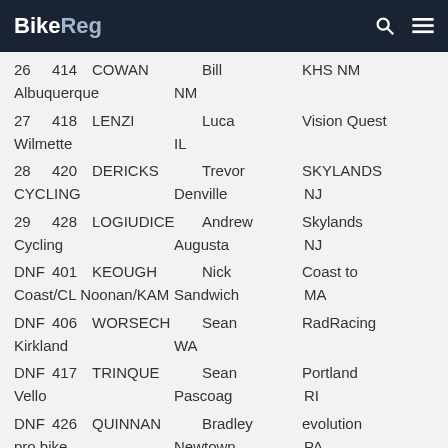BikeReg
| Place | # | Last | First | Team | City | State |
| --- | --- | --- | --- | --- | --- | --- |
| 26 | 414 | COWAN | Bill | KHS NM | Albuquerque | NM |
| 27 | 418 | LENZI | Luca | Vision Quest | Wilmette | IL |
| 28 | 420 | DERICKS | Trevor | SKYLANDS CYCLING | Denville | NJ |
| 29 | 428 | LOGIUDICE | Andrew | Skylands Cycling | Augusta | NJ |
| DNF | 401 | KEOUGH | Nick | Coast to Coast/CL Noonan/KAM | Sandwich | MA |
| DNF | 406 | WORSECH | Sean | RadRacing | Kirkland | WA |
| DNF | 417 | TRINQUE | Sean | Portland Vello | Pascoag | RI |
| DNF | 426 | QUINNAN | Bradley | evolution pro bike | Newtown | PA |
| DNF | 429 | BARLOW | Ryan | CUEVAS |  |  |